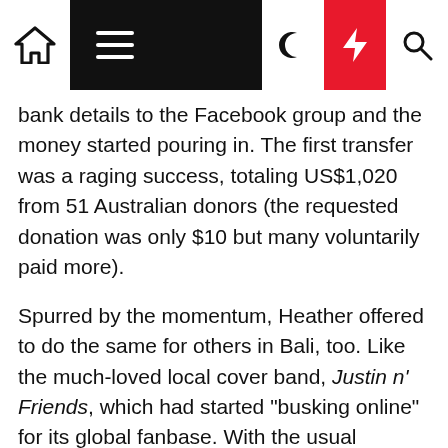Navigation bar with home, menu, moon, bolt, and search icons
bank details to the Facebook group and the money started pouring in. The first transfer was a raging success, totaling US$1,020 from 51 Australian donors (the requested donation was only $10 but many voluntarily paid more).
Spurred by the momentum, Heather offered to do the same for others in Bali, too. Like the much-loved local cover band, Justin n' Friends, which had started "busking online" for its global fanbase. With the usual venues shut down amid the coronavirus crisis, the group found a new home "life streaming" via Facebook Live. Virtual concert goers post their song requests in the chat function and send a tip via Heather's bank account if they feel so inclined.
But not everyone in Bali has a product or service that lends itself to a digital pivot. Like Heather's